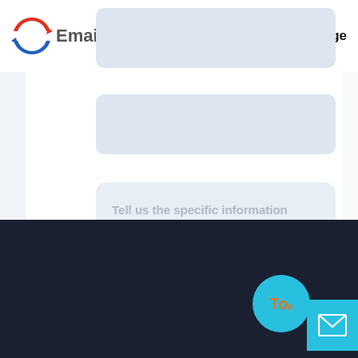[Figure (screenshot): Website header with logo showing a circular red and blue arrow icon and text 'Email*', navigation hamburger menu, search icon, and Language button]
[Figure (screenshot): Light blue input field area (top email form field, empty)]
[Figure (screenshot): Light blue input field area (second form field, empty)]
Tell us the specific information details of the product you need and we will provide you
[Figure (screenshot): Dark navy footer section of a website]
[Figure (screenshot): Cyan circular 'To' button and cyan square email icon button in bottom right corner]